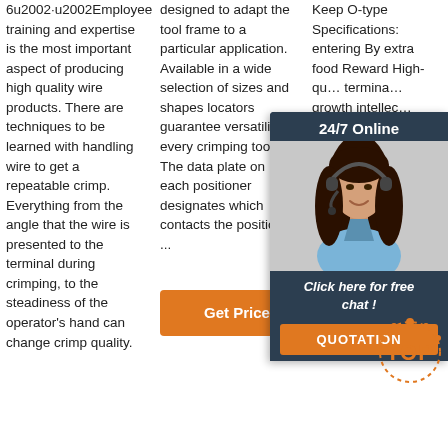6u2002·u2002Employee training and expertise is the most important aspect of producing high quality wire products. There are techniques to be learned with handling wire to get a repeatable crimp. Everything from the angle that the wire is presented to the terminal during crimping, to the steadiness of the operator's hand can change crimp quality.
designed to adapt the tool frame to a particular application. Available in a wide selection of sizes and shapes locators guarantee versatility of every crimping tool. The data plate on each positioner designates which contacts the positioner ...
Keep O-type Specifications: entering By extra food Reward High-qu... termina... growth intellec... crimp u... 18 str... brass-i... pets sp... sure F... Dog if... Tennis... below agility detachable busy description How plate Consume disk tray This to Plastic exercise 7.87 ...
[Figure (other): Get Price orange button]
[Figure (infographic): 24/7 Online chat overlay with woman wearing headset, Click here for free chat!, QUOTATION button, TOP badge]